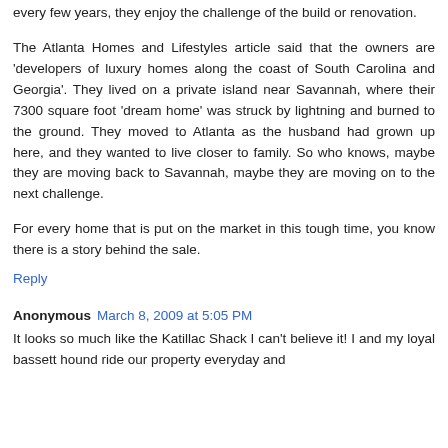every few years, they enjoy the challenge of the build or renovation.
The Atlanta Homes and Lifestyles article said that the owners are 'developers of luxury homes along the coast of South Carolina and Georgia'. They lived on a private island near Savannah, where their 7300 square foot 'dream home' was struck by lightning and burned to the ground. They moved to Atlanta as the husband had grown up here, and they wanted to live closer to family. So who knows, maybe they are moving back to Savannah, maybe they are moving on to the next challenge.
For every home that is put on the market in this tough time, you know there is a story behind the sale.
Reply
Anonymous March 8, 2009 at 5:05 PM
It looks so much like the Katillac Shack I can't believe it! I and my loyal bassett hound ride our property everyday and